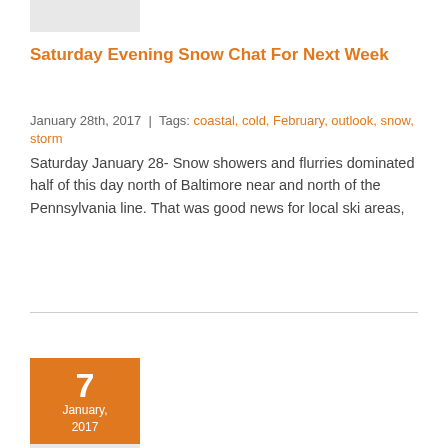[Figure (illustration): Small icon/image placeholder at top left]
Saturday Evening Snow Chat For Next Week
January 28th, 2017  |  Tags: coastal, cold, February, outlook, snow, storm
Saturday January 28- Snow showers and flurries dominated half of this day north of Baltimore near and north of the Pennsylvania line. That was good news for local ski areas,
[Figure (illustration): Orange calendar block showing 7 / January, 2017 with pen icon below]